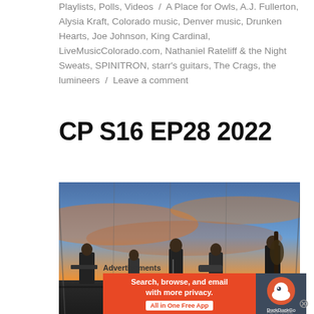Playlists, Polls, Videos / A Place for Owls, A.J. Fullerton, Alysia Kraft, Colorado music, Denver music, Drunken Hearts, Joe Johnson, King Cardinal, LiveMusicColorado.com, Nathaniel Rateliff & the Night Sweats, SPINITRON, starr's guitars, The Crags, the lumineers / Leave a comment
CP S16 EP28 2022
[Figure (photo): A band performing on an outdoor stage at sunset or dusk. Multiple musicians visible including a guitarist, bassist with upright bass, vocalist, and others. Warm orange and blue sky in the background.]
Advertisements
[Figure (other): DuckDuckGo advertisement banner: 'Search, browse, and email with more privacy. All in One Free App' with DuckDuckGo logo on dark blue background.]